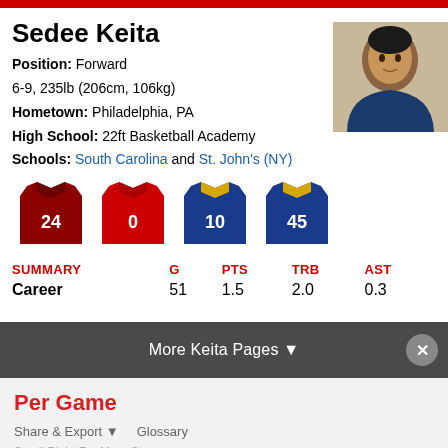Sedee Keita
Position: Forward
6-9, 235lb (206cm, 106kg)
Hometown: Philadelphia, PA
High School: 22ft Basketball Academy
Schools: South Carolina and St. John's (NY)
[Figure (illustration): Four basketball jerseys numbered 24 (dark red), 0 (red), 10 (blue/gold), 45 (blue/gold)]
| SUMMARY | G | PTS | TRB | AST |
| --- | --- | --- | --- | --- |
| Career | 51 | 1.5 | 2.0 | 0.3 |
More Keita Pages ▼
Per Game
Share & Export ▼   Glossary
Scroll Right For More Stats →